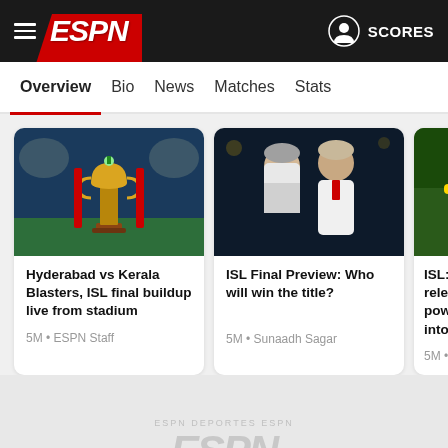[Figure (screenshot): ESPN website header with hamburger menu, ESPN logo on red triangle background, profile icon and SCORES button on right]
Overview  Bio  News  Matches  Stats
[Figure (photo): ISL trophy on a football pitch at night with stadium lights]
Hyderabad vs Kerala Blasters, ISL final buildup live from stadium
5M • ESPN Staff
[Figure (photo): Two coaches talking face to face on the pitch]
ISL Final Preview: Who will win the title?
5M • Sunaadh Sagar
[Figure (photo): Kerala Blasters player in yellow kit running during a match]
ISL: Adrian Lu relentless mag powers Kerala into final
5M • Anirudh Me
[Figure (logo): ESPN watermark logo in light grey at bottom of page]